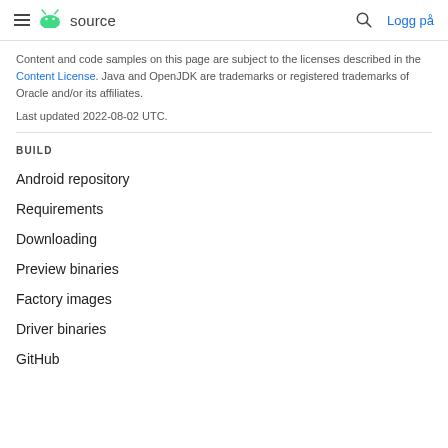≡  source   🔍  Logg på
Content and code samples on this page are subject to the licenses described in the Content License. Java and OpenJDK are trademarks or registered trademarks of Oracle and/or its affiliates.
Last updated 2022-08-02 UTC.
BUILD
Android repository
Requirements
Downloading
Preview binaries
Factory images
Driver binaries
GitHub